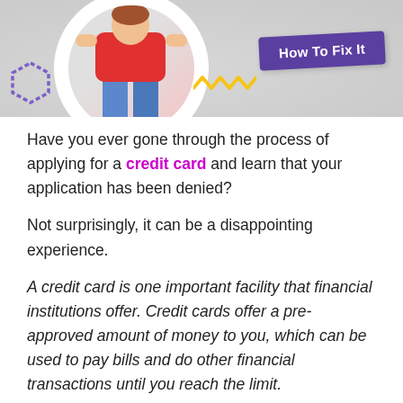[Figure (illustration): Banner image showing a person (cropped, in jeans and red top) inside a white circle on a grey background, with a yellow zigzag decoration, a hexagonal stripe icon on the left, and a purple tilted button labeled 'How To Fix It' on the right.]
Have you ever gone through the process of applying for a credit card and learn that your application has been denied?
Not surprisingly, it can be a disappointing experience.
A credit card is one important facility that financial institutions offer. Credit cards offer a pre-approved amount of money to you, which can be used to pay bills and do other financial transactions until you reach the limit.
Things To Know :